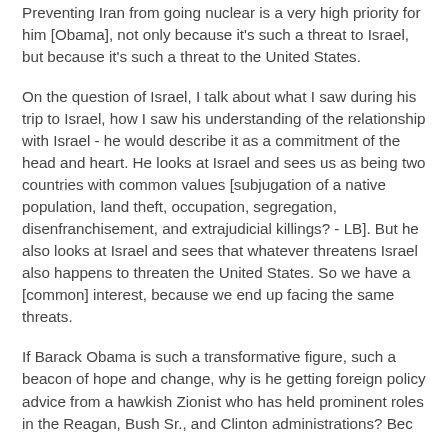Preventing Iran from going nuclear is a very high priority for him [Obama], not only because it's such a threat to Israel, but because it's such a threat to the United States.
On the question of Israel, I talk about what I saw during his trip to Israel, how I saw his understanding of the relationship with Israel - he would describe it as a commitment of the head and heart. He looks at Israel and sees us as being two countries with common values [subjugation of a native population, land theft, occupation, segregation, disenfranchisement, and extrajudicial killings? - LB]. But he also looks at Israel and sees that whatever threatens Israel also happens to threaten the United States. So we have a [common] interest, because we end up facing the same threats.
If Barack Obama is such a transformative figure, such a beacon of hope and change, why is he getting foreign policy advice from a hawkish Zionist who has held prominent roles in the Reagan, Bush Sr., and Clinton administrations? Bec...